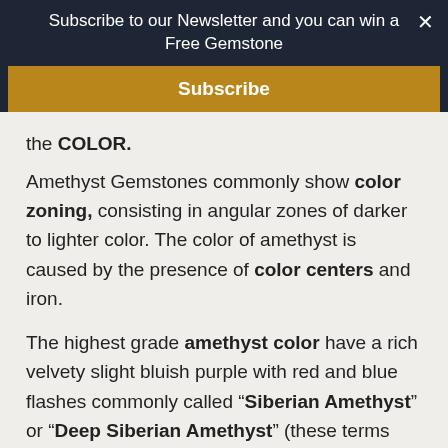Subscribe to our Newsletter and you can win a Free Gemstone
the COLOR.
Amethyst Gemstones commonly show color zoning, consisting in angular zones of darker to lighter color. The color of amethyst is caused by the presence of color centers and iron.
The highest grade amethyst color have a rich velvety slight bluish purple with red and blue flashes commonly called “Siberian Amethyst” or “Deep Siberian Amethyst” (these terms refer to the color, not the origin).
They are also highly valued the amethyst color strong reddish purple without color zoning and without brown hue.